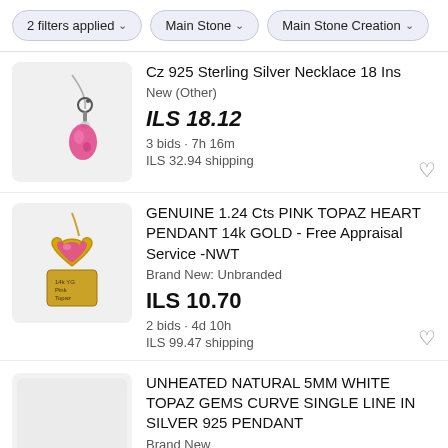2 filters applied  Main Stone  Main Stone Creation
[Figure (photo): Sterling silver necklace with pink teardrop crystal pendant]
Cz 925 Sterling Silver Necklace 18 Ins
New (Other)
ILS 18.12
3 bids · 7h 16m
ILS 32.94 shipping
[Figure (photo): 14k gold heart pendant with pink topaz stone, jewelry tag visible]
GENUINE 1.24 Cts PINK TOPAZ HEART PENDANT 14k GOLD - Free Appraisal Service -NWT
Brand New: Unbranded
ILS 10.70
2 bids · 4d 10h
ILS 99.47 shipping
[Figure (photo): Blank/light gray placeholder image for white topaz pendant listing]
UNHEATED NATURAL 5MM WHITE TOPAZ GEMS CURVE SINGLE LINE IN SILVER 925 PENDANT
Brand New